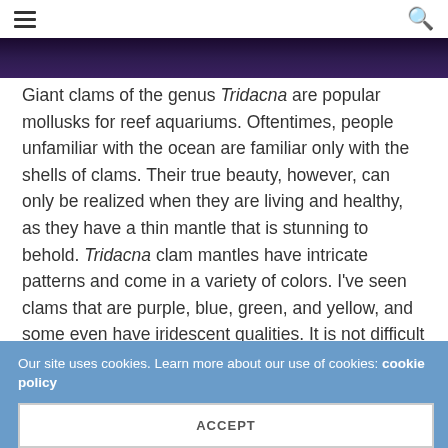≡  🔍
[Figure (photo): Dark purple/blue underwater photo strip at top of page]
Giant clams of the genus Tridacna are popular mollusks for reef aquariums. Oftentimes, people unfamiliar with the ocean are familiar only with the shells of clams. Their true beauty, however, can only be realized when they are living and healthy, as they have a thin mantle that is stunning to behold. Tridacna clam mantles have intricate patterns and come in a variety of colors. I've seen clams that are purple, blue, green, and yellow, and some even have iridescent qualities. It is not difficult to understand why these clams are so popular in the reef-keeping hobby.
Our site uses cookies. Learn more about our use of cookies: cookie policy
ACCEPT